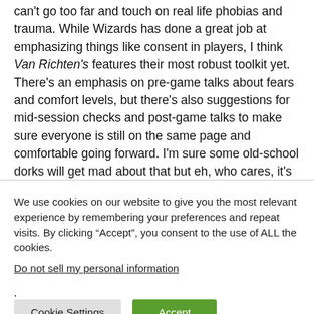can't go too far and touch on real life phobias and trauma. While Wizards has done a great job at emphasizing things like consent in players, I think Van Richten's features their most robust toolkit yet. There's an emphasis on pre-game talks about fears and comfort levels, but there's also suggestions for mid-session checks and post-game talks to make sure everyone is still on the same page and comfortable going forward. I'm sure some old-school dorks will get mad about that but eh, who cares, it's really nice.
We use cookies on our website to give you the most relevant experience by remembering your preferences and repeat visits. By clicking “Accept”, you consent to the use of ALL the cookies.
Do not sell my personal information.